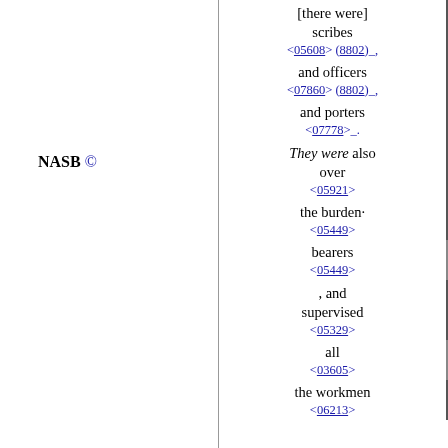[there were] scribes <05608> (8802)_,
and officers <07860> (8802)_,
and porters <07778>_.
NASB ©
They were also over <05921>
the burden· <05449>
bearers <05449>
, and supervised <05329>
all <03605>
the workmen <06213>